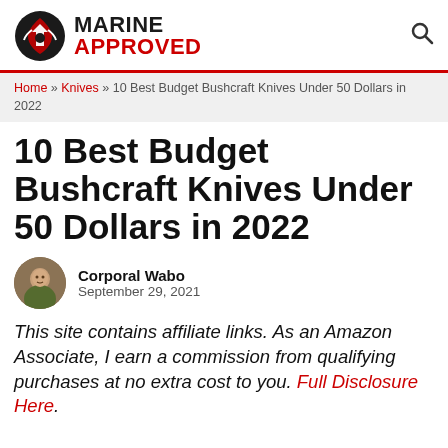MARINE APPROVED
Home » Knives » 10 Best Budget Bushcraft Knives Under 50 Dollars in 2022
10 Best Budget Bushcraft Knives Under 50 Dollars in 2022
Corporal Wabo
September 29, 2021
This site contains affiliate links. As an Amazon Associate, I earn a commission from qualifying purchases at no extra cost to you. Full Disclosure Here.